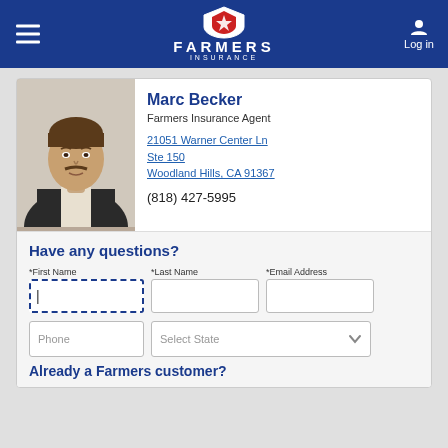FARMERS INSURANCE — Navigation bar with Log in
Marc Becker
Farmers Insurance Agent
21051 Warner Center Ln
Ste 150
Woodland Hills, CA 91367
(818) 427-5995
Have any questions?
*First Name  *Last Name  *Email Address  Phone  Select State
Already a Farmers customer?